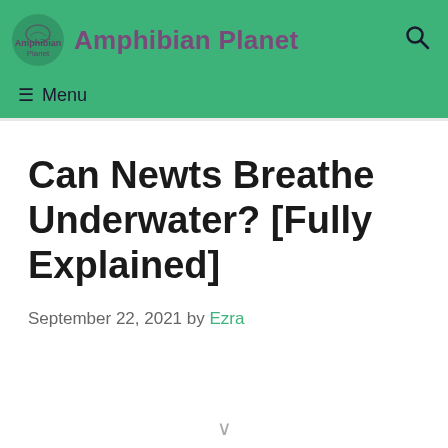Amphibian Planet
Can Newts Breathe Underwater? [Fully Explained]
September 22, 2021 by Ezra